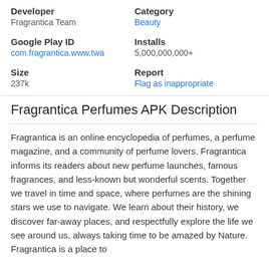Developer
Fragrantica Team
Category
Beauty
Google Play ID
com.fragrantica.www.twa
Installs
5,000,000,000+
Size
237k
Report
Flag as inappropriate
Fragrantica Perfumes APK Description
Fragrantica is an online encyclopedia of perfumes, a perfume magazine, and a community of perfume lovers. Fragrantica informs its readers about new perfume launches, famous fragrances, and less-known but wonderful scents. Together we travel in time and space, where perfumes are the shining stars we use to navigate. We learn about their history, we discover far-away places, and respectfully explore the life we see around us, always taking time to be amazed by Nature. Fragrantica is a place to